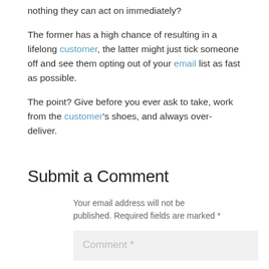nothing they can act on immediately?
The former has a high chance of resulting in a lifelong customer, the latter might just tick someone off and see them opting out of your email list as fast as possible.
The point? Give before you ever ask to take, work from the customer's shoes, and always over-deliver.
Submit a Comment
Your email address will not be published. Required fields are marked *
Comment *